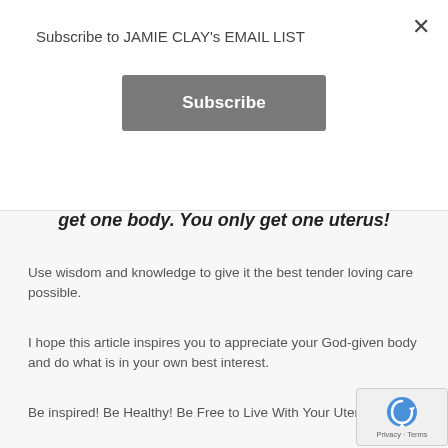Subscribe to JAMIE CLAY's EMAIL LIST
Subscribe
get one body. You only get one uterus!
Use wisdom and knowledge to give it the best tender loving care possible.
I hope this article inspires you to appreciate your God-given body and do what is in your own best interest.
Be inspired! Be Healthy! Be Free to Live With Your Uterus!
What are your thoughts? Would you undergo hysteroscopy endometrial ablation?
Do you know someone who has had this procedure? Have you already undergone the procedure? If so, are you happy and comfortable with the results?